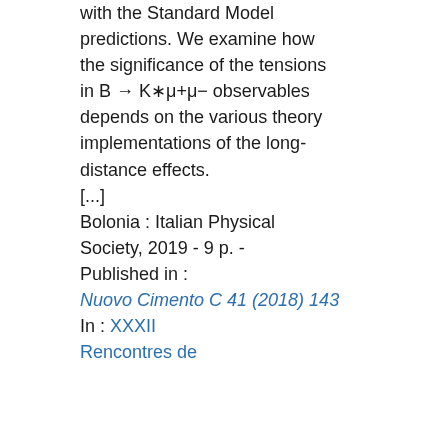with the Standard Model predictions. We examine how the significance of the tensions in B → K∗μ+μ− observables depends on the various theory implementations of the long-distance effects. [...] Bolonia : Italian Physical Society, 2019 - 9 p. - Published in : Nuovo Cimento C 41 (2018) 143 In : XXXII Rencontres de